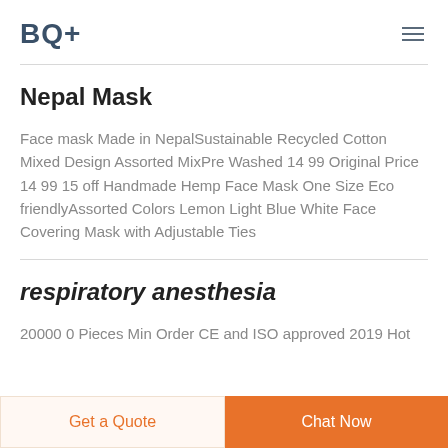BQ+
Nepal Mask
Face mask Made in NepalSustainable Recycled Cotton Mixed Design Assorted MixPre Washed 14 99 Original Price 14 99 15 off Handmade Hemp Face Mask One Size Eco friendlyAssorted Colors Lemon Light Blue White Face Covering Mask with Adjustable Ties
respiratory anesthesia
20000 0 Pieces Min Order CE and ISO approved 2019 Hot